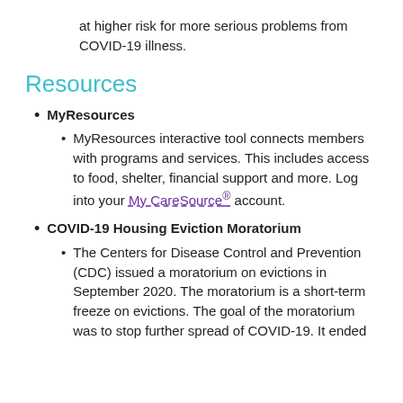at higher risk for more serious problems from COVID-19 illness.
Resources
MyResources
MyResources interactive tool connects members with programs and services. This includes access to food, shelter, financial support and more. Log into your My CareSource® account.
COVID-19 Housing Eviction Moratorium
The Centers for Disease Control and Prevention (CDC) issued a moratorium on evictions in September 2020. The moratorium is a short-term freeze on evictions. The goal of the moratorium was to stop further spread of COVID-19. It ended